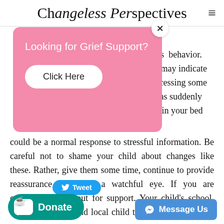Changeless Perspectives
[Figure (screenshot): Modal popup with pink background: 'Looking for Grief Support? Click Here' with an X close button]
child's behavior. terns may indicate e processing some such as suddenly sleep in your bed could be a normal response to stressful information. Be careful not to shame your child about changes like these. Rather, give them some time, continue to provide reassurance and keep a watchful eye. If you are concerned, reach out for support. Your child's school, their pediatrician and local child therapists are all great resources.
[Figure (screenshot): Social sharing buttons: Tweet button (blue), Donate button (teal/green with Ko-fi icon), Message Us button (blue/Facebook Messenger)]